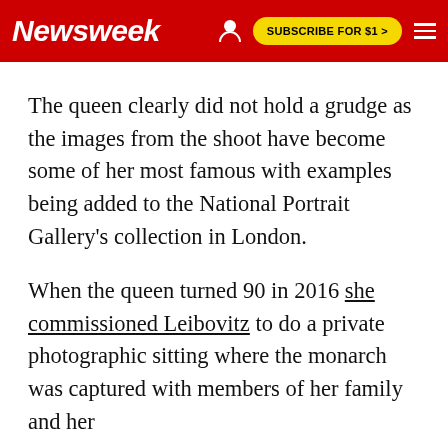Newsweek | SUBSCRIBE FOR $1 >
The queen clearly did not hold a grudge as the images from the shoot have become some of her most famous with examples being added to the National Portrait Gallery's collection in London.
When the queen turned 90 in 2016 she commissioned Leibovitz to do a private photographic sitting where the monarch was captured with members of her family and her